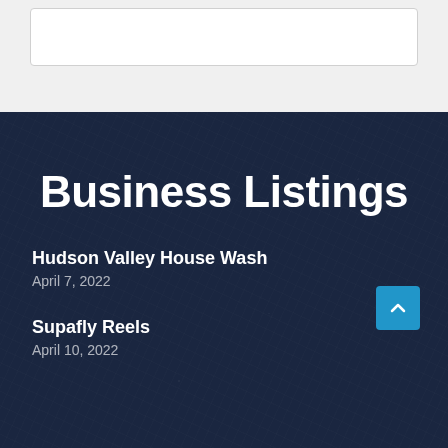[Figure (screenshot): Top section with light gray background showing a white card/search box]
Business Listings
Hudson Valley House Wash
April 7, 2022
Supafly Reels
April 10, 2022